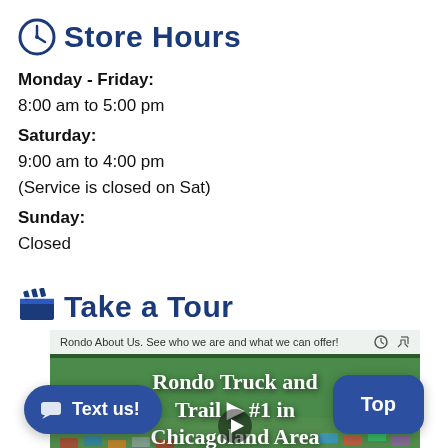Store Hours
Monday - Friday:
8:00 am to 5:00 pm
Saturday:
9:00 am to 4:00 pm
(Service is closed on Sat)
Sunday:
Closed
Take a Tour
[Figure (screenshot): Video thumbnail for Rondo Truck and Trail - #1 in Chicagoland Area with aerial view of lot. Top bar reads: Rondo About Us. See who we are and what we can offer!]